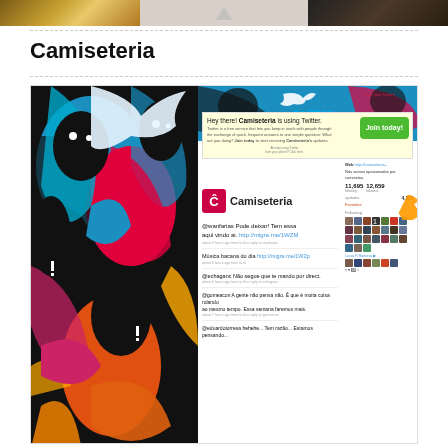[Figure (screenshot): Top strip showing partial images: wooden/gold texture left, light beige center with play button, dark texture right]
Camiseteria
[Figure (screenshot): Screenshot of Camiseteria's Twitter profile page showing the colorful illustrated background, Twitter header with bird logo, a 'Hey there! Camiseteria is using Twitter. Join today!' popup with green button, the Camiseteria crown logo and name, tweets including '@wanfarias Pode deixar! Tem essa aqui vindo ai. http://migre.me/1WZM' and others, follower/following stats showing 11,695 following and 12,659 followers, updates count 4,211, and a grid of follower avatars.]